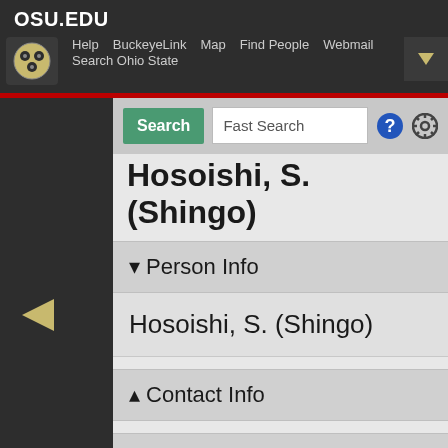OSU.EDU
Help  BuckeyeLink  Map  Find People  Webmail  Search Ohio State
Search  Fast Search
Hosoishi, S. (Shingo)
▾ Person Info
Hosoishi, S. (Shingo)
▴ Contact Info
▴ Person Stats